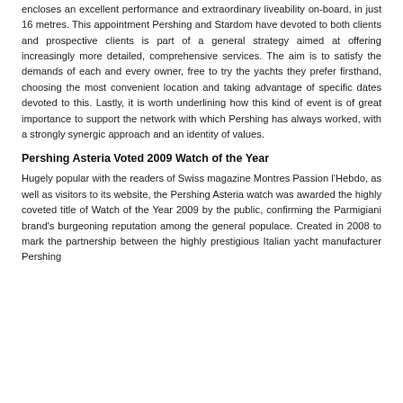encloses an excellent performance and extraordinary liveability on-board, in just 16 metres. This appointment Pershing and Stardom have devoted to both clients and prospective clients is part of a general strategy aimed at offering increasingly more detailed, comprehensive services. The aim is to satisfy the demands of each and every owner, free to try the yachts they prefer firsthand, choosing the most convenient location and taking advantage of specific dates devoted to this. Lastly, it is worth underlining how this kind of event is of great importance to support the network with which Pershing has always worked, with a strongly synergic approach and an identity of values.
Pershing Asteria Voted 2009 Watch of the Year
Hugely popular with the readers of Swiss magazine Montres Passion l'Hebdo, as well as visitors to its website, the Pershing Asteria watch was awarded the highly coveted title of Watch of the Year 2009 by the public, confirming the Parmigiani brand's burgeoning reputation among the general populace. Created in 2008 to mark the partnership between the highly prestigious Italian yacht manufacturer Pershing